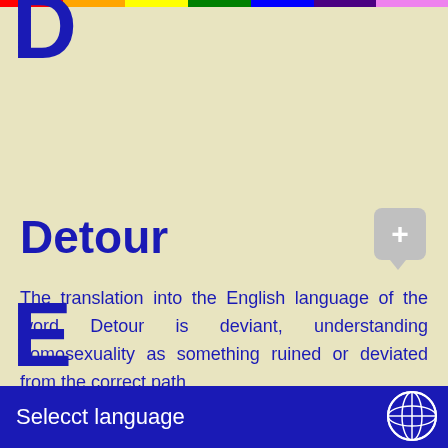[Figure (illustration): Rainbow colored bar at the top of the page]
D
Detour
[Figure (other): Gray rounded plus button with downward triangle pointer]
The translation into the English language of the word Detour is deviant, understanding homosexuality as something ruined or deviated from the correct path.
E
Selecct language
[Figure (illustration): Globe/earth icon in white on blue background in bottom right corner]